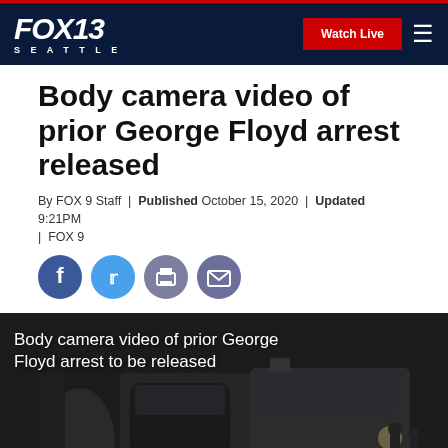FOX13 SEATTLE | Watch Live
Body camera video of prior George Floyd arrest released
By FOX 9 Staff | Published October 15, 2020 | Updated 9:21PM | FOX 9
[Figure (screenshot): Social sharing icons: Facebook, Twitter, Print, Email]
[Figure (screenshot): Video thumbnail showing dark scene with text overlay: Body camera video of prior George Floyd arrest to be released]